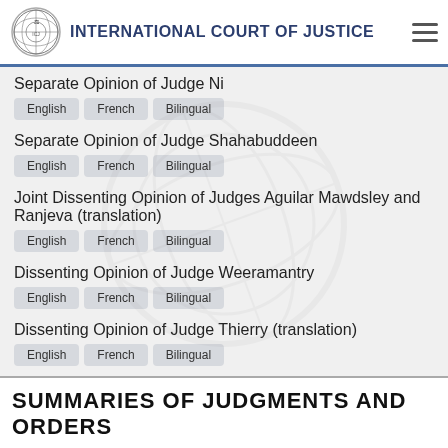INTERNATIONAL COURT OF JUSTICE
Separate Opinion of Judge Ni — English, French, Bilingual
Separate Opinion of Judge Shahabuddeen — English, French, Bilingual
Joint Dissenting Opinion of Judges Aguilar Mawdsley and Ranjeva (translation) — English, French, Bilingual
Dissenting Opinion of Judge Weeramantry — English, French, Bilingual
Dissenting Opinion of Judge Thierry (translation) — English, French, Bilingual
SUMMARIES OF JUDGMENTS AND ORDERS